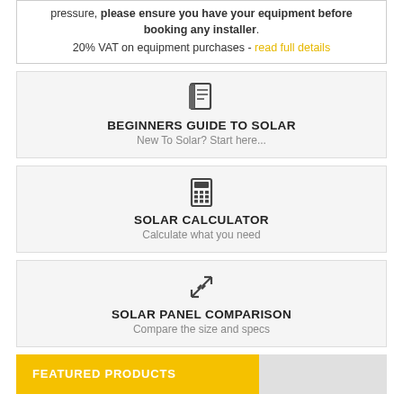pressure, please ensure you have your equipment before booking any installer. 20% VAT on equipment purchases - read full details
[Figure (illustration): Book/notepad icon]
BEGINNERS GUIDE TO SOLAR
New To Solar? Start here...
[Figure (illustration): Calculator icon]
SOLAR CALCULATOR
Calculate what you need
[Figure (illustration): Resize/compare arrows icon]
SOLAR PANEL COMPARISON
Compare the size and specs
FEATURED PRODUCTS